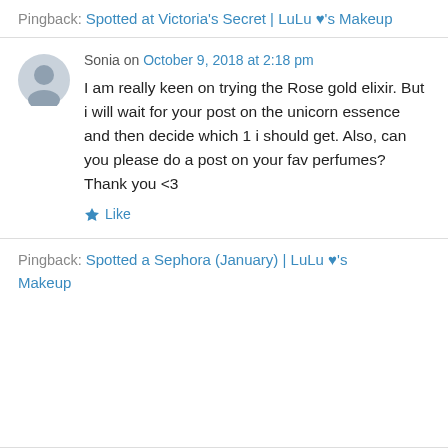Pingback: Spotted at Victoria's Secret | LuLu ♥'s Makeup
Sonia on October 9, 2018 at 2:18 pm
I am really keen on trying the Rose gold elixir. But i will wait for your post on the unicorn essence and then decide which 1 i should get. Also, can you please do a post on your fav perfumes? Thank you <3
★ Like
Pingback: Spotted a Sephora (January) | LuLu ♥'s Makeup